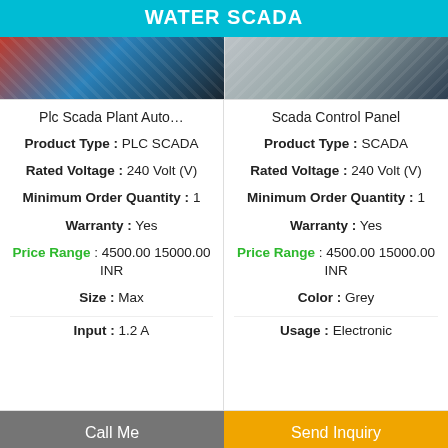WATER SCADA
[Figure (photo): Product image of Plc Scada Plant Automation system]
[Figure (photo): Product image of Scada Control Panel]
Plc Scada Plant Auto...
Product Type : PLC SCADA
Rated Voltage : 240 Volt (V)
Minimum Order Quantity : 1
Warranty : Yes
Price Range : 4500.00 15000.00 INR
Size : Max
Input : 1.2 A
Scada Control Panel
Product Type : SCADA
Rated Voltage : 240 Volt (V)
Minimum Order Quantity : 1
Warranty : Yes
Price Range : 4500.00 15000.00 INR
Color : Grey
Usage : Electronic
Call Me | Send Inquiry